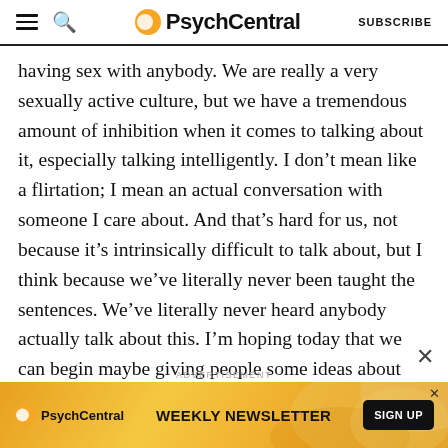PsychCentral — SUBSCRIBE
having sex with anybody. We are really a very sexually active culture, but we have a tremendous amount of inhibition when it comes to talking about it, especially talking intelligently. I don't mean like a flirtation; I mean an actual conversation with someone I care about. And that's hard for us, not because it's intrinsically difficult to talk about, but I think because we've literally never been taught the sentences. We've literally never heard anybody actually talk about this. I'm hoping today that we can begin maybe giving people some ideas about how they might safely bring up subjects so that if, let's say it was me, how could I conceivably disclose to my spouse that I'm having some sexual thoughts or
[Figure (screenshot): PsychCentral Weekly Newsletter advertisement banner with orange/gold swirl background, PsychCentral logo on left, 'WEEKLY NEWSLETTER' headline in center, and 'SIGN UP' black button on right. An X close button appears in the top-right corner of the banner.]